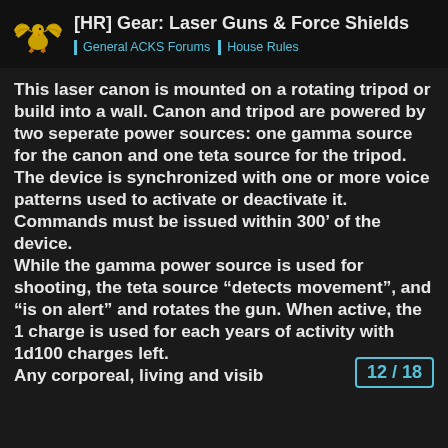[HR] Gear: Laser Guns & Force Shields | General ACKS Forums | House Rules
This laser canon is mounted on a rotating tripod or build into a wall. Canon and tripod are powered by two seperate power sources: one gamma source for the canon and one teta source for the tripod. The device is synchronized with one or more voice patterns used to activate or deactivate it. Commands must be issued within 300' of the device.
While the gamma power source is used for shooting, the teta source “detects movement”, and “is on alert” and rotates the gun. When active, the 1 charge is used for each years of activity with 1d100 charges left.
Any corporeal, living and visib
12 / 18